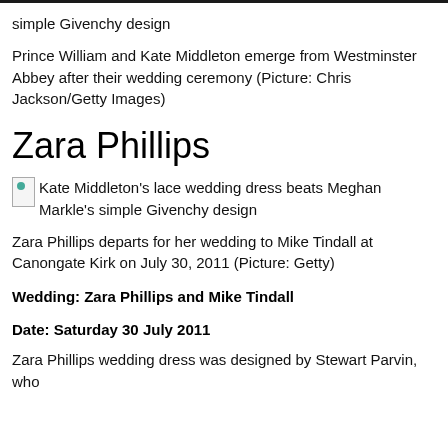simple Givenchy design
Prince William and Kate Middleton emerge from Westminster Abbey after their wedding ceremony (Picture: Chris Jackson/Getty Images)
Zara Phillips
[Figure (photo): Broken image placeholder with alt text: Kate Middleton's lace wedding dress beats Meghan Markle's simple Givenchy design]
Zara Phillips departs for her wedding to Mike Tindall at Canongate Kirk on July 30, 2011 (Picture: Getty)
Wedding: Zara Phillips and Mike Tindall
Date: Saturday 30 July 2011
Zara Phillips wedding dress was designed by Stewart Parvin, who